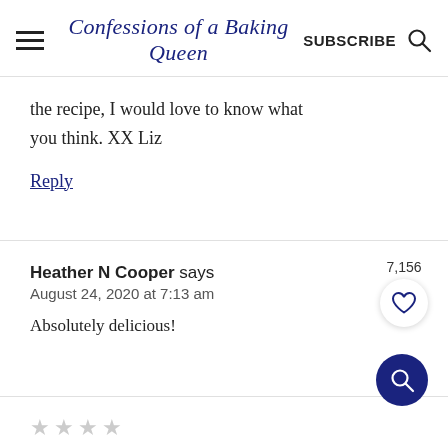Confessions of a Baking Queen  SUBSCRIBE
the recipe, I would love to know what you think. XX Liz
Reply
Heather N Cooper says
August 24, 2020 at 7:13 am
Absolutely delicious!
★★★★